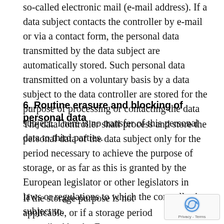so-called electronic mail (e-mail address). If a data subject contacts the controller by e-mail or via a contact form, the personal data transmitted by the data subject are automatically stored. Such personal data transmitted on a voluntary basis by a data subject to the data controller are stored for the purpose of processing or contacting the data subject. There is no transfer of this personal data to third parties.
6. Routine erasure and blocking of personal data
The data controller shall process and store the personal data of the data subject only for the period necessary to achieve the purpose of storage, or as far as this is granted by the European legislator or other legislators in laws or regulations to which the controller is subject to.
If the storage purpose is not applicable, or if a storage period prescribed by the European legislator